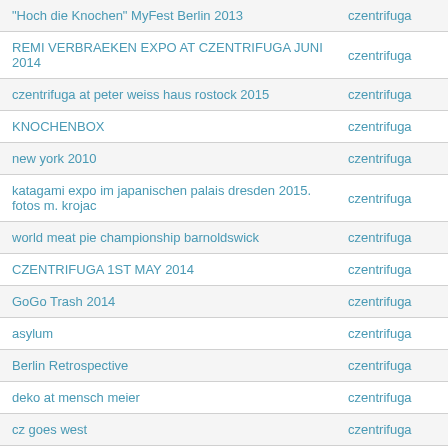| Title | Author |
| --- | --- |
| "Hoch die Knochen" MyFest Berlin 2013 | czentrifuga |
| REMI VERBRAEKEN EXPO AT CZENTRIFUGA JUNI 2014 | czentrifuga |
| czentrifuga at peter weiss haus rostock 2015 | czentrifuga |
| KNOCHENBOX | czentrifuga |
| new york 2010 | czentrifuga |
| katagami expo im japanischen palais dresden 2015. fotos m. krojac | czentrifuga |
| world meat pie championship barnoldswick | czentrifuga |
| CZENTRIFUGA 1ST MAY 2014 | czentrifuga |
| GoGo Trash 2014 | czentrifuga |
| asylum | czentrifuga |
| Berlin Retrospective | czentrifuga |
| deko at mensch meier | czentrifuga |
| cz goes west | czentrifuga |